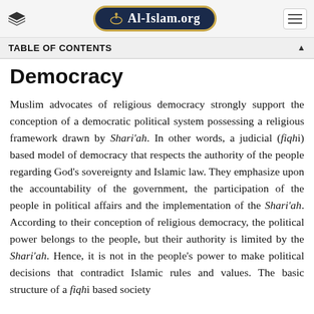Al-Islam.org
TABLE OF CONTENTS
Democracy
Muslim advocates of religious democracy strongly support the conception of a democratic political system possessing a religious framework drawn by Shari'ah. In other words, a judicial (fiqhi) based model of democracy that respects the authority of the people regarding God's sovereignty and Islamic law. They emphasize upon the accountability of the government, the participation of the people in political affairs and the implementation of the Shari'ah. According to their conception of religious democracy, the political power belongs to the people, but their authority is limited by the Shari'ah. Hence, it is not in the people's power to make political decisions that contradict Islamic rules and values. The basic structure of a fiqhi based society